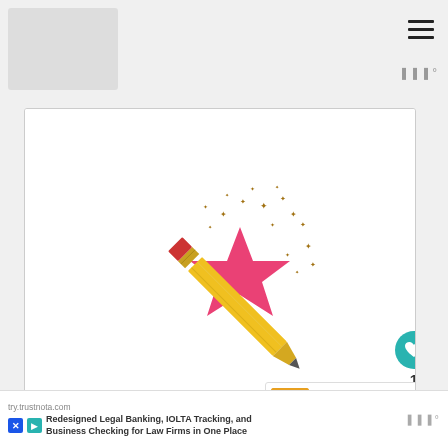[Figure (illustration): A magic wand illustration: a yellow pencil with pink eraser at the bottom, topped with a large pink star and gold sparkle dots scattered above and to the right]
1
WHAT'S NEXT → Resolutions with kids :::....
try.trustnota.com Redesigned Legal Banking, IOLTA Tracking, and Business Checking for Law Firms in One Place